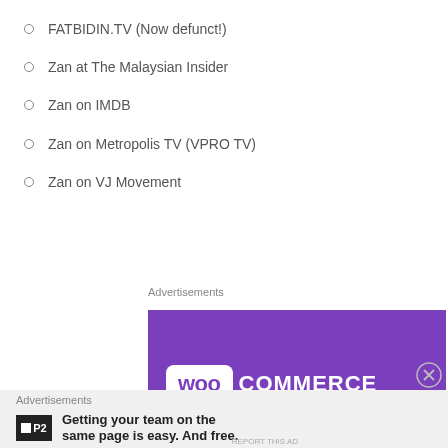FATBIDIN.TV (Now defunct!)
Zan at The Malaysian Insider
Zan on IMDB
Zan on Metropolis TV (VPRO TV)
Zan on VJ Movement
Advertisements
[Figure (illustration): WooCommerce advertisement banner with purple background, WooCommerce logo in white text, and an orange accent element at bottom right]
Advertisements
Getting your team on the same page is easy. And free.